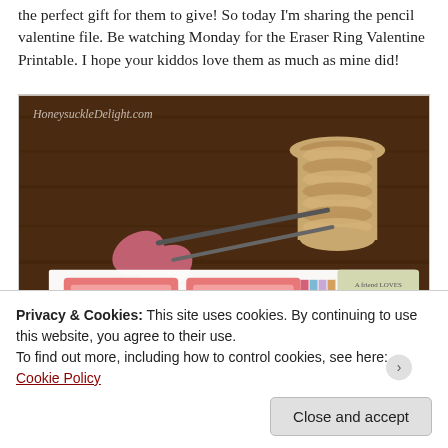the perfect gift for them to give! So today I'm sharing the pencil valentine file. Be watching Monday for the Eraser Ring Valentine Printable. I hope your kiddos love them as much as mine did!
[Figure (photo): Photo of craft supplies on a wooden table including scissors, washi tape, a spool of twine, and printed Valentine card templates with pencils. Watermark reads HoneysuckleDelight.com]
Privacy & Cookies: This site uses cookies. By continuing to use this website, you agree to their use.
To find out more, including how to control cookies, see here: Cookie Policy